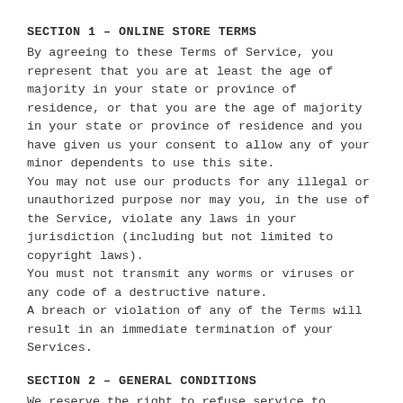SECTION 1 – ONLINE STORE TERMS
By agreeing to these Terms of Service, you represent that you are at least the age of majority in your state or province of residence, or that you are the age of majority in your state or province of residence and you have given us your consent to allow any of your minor dependents to use this site.
You may not use our products for any illegal or unauthorized purpose nor may you, in the use of the Service, violate any laws in your jurisdiction (including but not limited to copyright laws).
You must not transmit any worms or viruses or any code of a destructive nature.
A breach or violation of any of the Terms will result in an immediate termination of your Services.
SECTION 2 – GENERAL CONDITIONS
We reserve the right to refuse service to anyone for any reason at any time.
You understand that your content (not including credit card